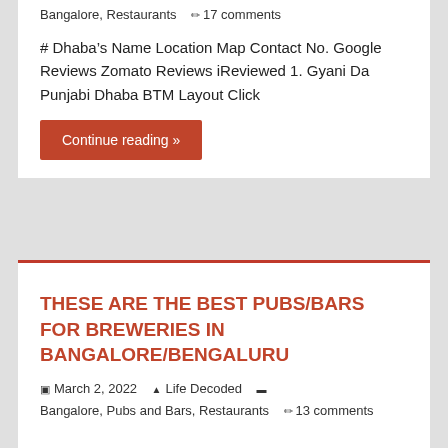Bangalore, Restaurants   ✏ 17 comments
# Dhaba's Name Location Map Contact No. Google Reviews Zomato Reviews iReviewed 1. Gyani Da Punjabi Dhaba BTM Layout Click
Continue reading »
THESE ARE THE BEST PUBS/BARS FOR BREWERIES IN BANGALORE/BENGALURU
▣ March 2, 2022   ▲ Life Decoded   ▬ Bangalore, Pubs and Bars, Restaurants   ✏ 13 comments